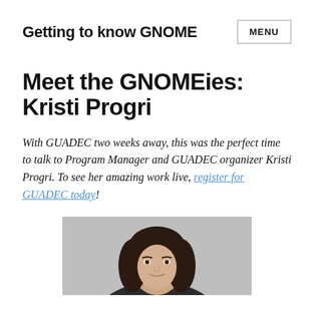Getting to know GNOME  MENU
Meet the GNOMEies:
Kristi Progri
With GUADEC two weeks away, this was the perfect time to talk to Program Manager and GUADEC organizer Kristi Progri. To see her amazing work live, register for GUADEC today!
[Figure (photo): Portrait photo of Kristi Progri, a woman with dark hair, shown from shoulders up against a gray background]